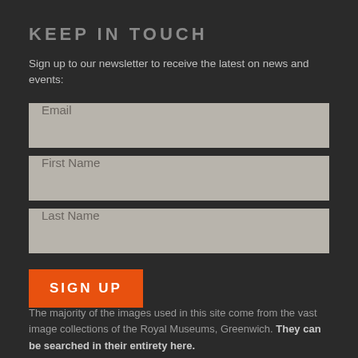KEEP IN TOUCH
Sign up to our newsletter to receive the latest on news and events:
Email
First Name
Last Name
SIGN UP
The majority of the images used in this site come from the vast image collections of the Royal Museums, Greenwich. They can be searched in their entirety here.